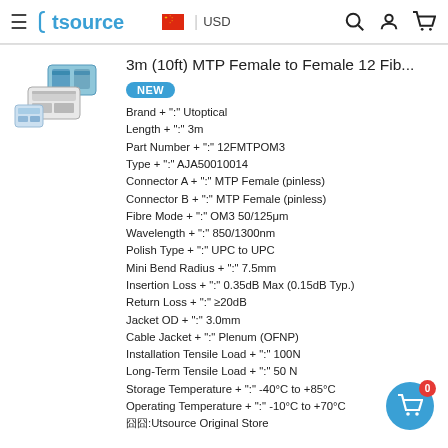utsource  USD
3m (10ft) MTP Female to Female 12 Fib...
NEW
Brand + ":" Utoptical
Length + ":" 3m
Part Number + ":" 12FMTPOM3
Type + ":" AJA50010014
Connector A + ":" MTP Female (pinless)
Connector B + ":" MTP Female (pinless)
Fibre Mode + ":" OM3 50/125μm
Wavelength + ":" 850/1300nm
Polish Type + ":" UPC to UPC
Mini Bend Radius + ":" 7.5mm
Insertion Loss + ":" 0.35dB Max (0.15dB Typ.)
Return Loss + ":" ≥20dB
Jacket OD + ":" 3.0mm
Cable Jacket + ":" Plenum (OFNP)
Installation Tensile Load + ":" 100N
Long-Term Tensile Load + ":" 50 N
Storage Temperature + ":" -40°C to +85°C
Operating Temperature + ":" -10°C to +70°C
囧囧:Utsource Original Store